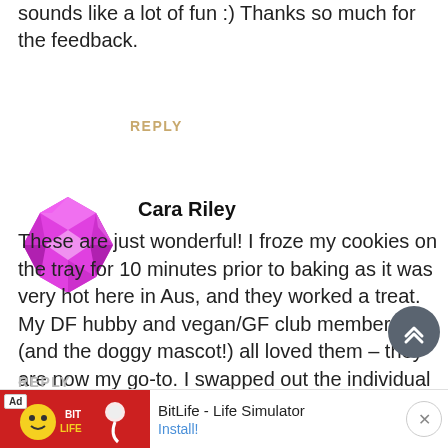sounds like a lot of fun :) Thanks so much for the feedback.
REPLY
[Figure (illustration): Magenta/pink geometric diamond avatar icon for user Cara Riley]
Cara Riley
These are just wonderful! I froze my cookies on the tray for 10 minutes prior to baking as it was very hot here in Aus, and they worked a treat. My DF hubby and vegan/GF club members (and the doggy mascot!) all loved them – they are now my go-to. I swapped out the individual aromatics for mixed spice (as it was all I had) and upped the ginger to 2.5 (metric) tsp, and hubby says they were not ginger-y enough, so 3tsp next time :) But thank you for a wonderful recip
REPLY
[Figure (other): Ad banner: BitLife - Life Simulator with Install button]